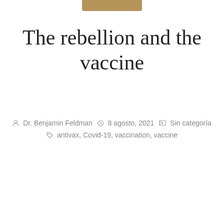[Figure (other): Tan/gold colored horizontal bar at top center of page]
The rebellion and the vaccine
Dr. Benjamin Feldman   8 agosto, 2021   Sin categoría   antivax, Covid-19, vaccination, vaccine